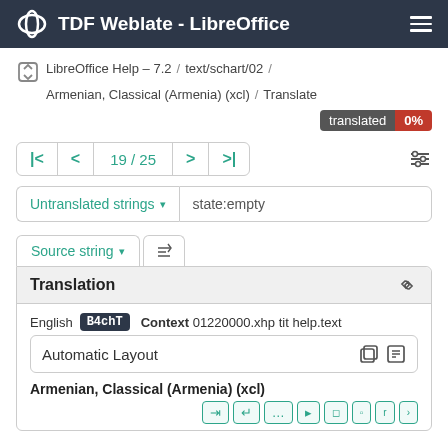TDF Weblate - LibreOffice
LibreOffice Help – 7.2 / text/schart/02 / Armenian, Classical (Armenia) (xcl) / Translate
translated 0%
19 / 25
Untranslated strings ▾   state:empty
Source string ▾
Translation
English  B4chT   Context 01220000.xhp tit help.text
Automatic Layout
Armenian, Classical (Armenia) (xcl)